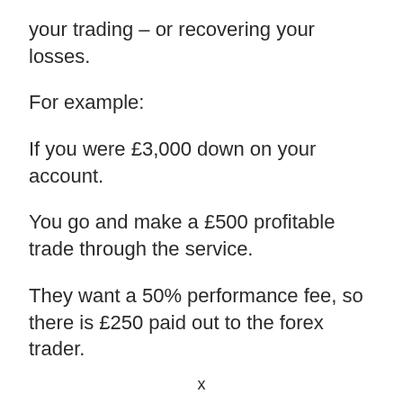your trading – or recovering your losses.
For example:
If you were £3,000 down on your account.
You go and make a £500 profitable trade through the service.
They want a 50% performance fee, so there is £250 paid out to the forex trader.
x